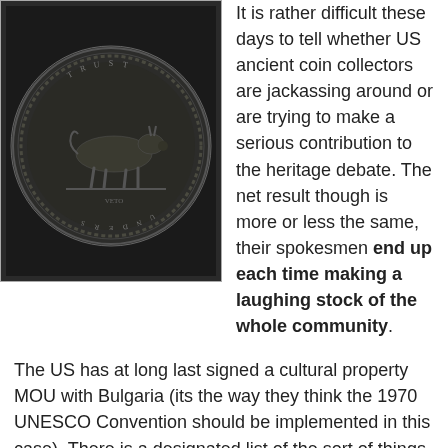[Figure (photo): Ancient coin with a donkey/mule figure on it, dark bronze/copper colored, circular with decorative border]
It is rather difficult these days to tell whether US ancient coin collectors are jackassing around or are trying to make a serious contribution to the heritage debate. The net result though is more or less the same, their spokesmen end up each time making a laughing stock of the whole community.
The US has at long last signed a cultural property MOU with Bulgaria (its the way they think the 1970 UNESCO Convention should be implemented in this case). There is a designated list of the sort of things US Customs should be on the lookout for published in the federal Register,"Import Restrictions Imposed on Certain Archaeological and Ecclesiastical Ethnological Material From Bulgaria". This is preceded by a text which no coin collector is ever going to read which says "why" stopping illegal exports is so important. There is then a long list of ancient and antique